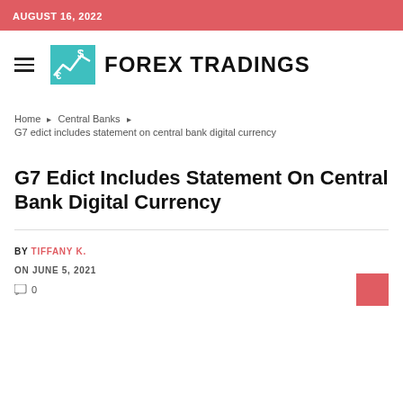AUGUST 16, 2022
[Figure (logo): Forex Tradings logo with teal icon showing currency chart and dollar/euro symbols, and bold text FOREX TRADINGS]
Home › Central Banks ›
G7 edict includes statement on central bank digital currency
G7 Edict Includes Statement On Central Bank Digital Currency
BY TIFFANY K.
ON JUNE 5, 2021
0